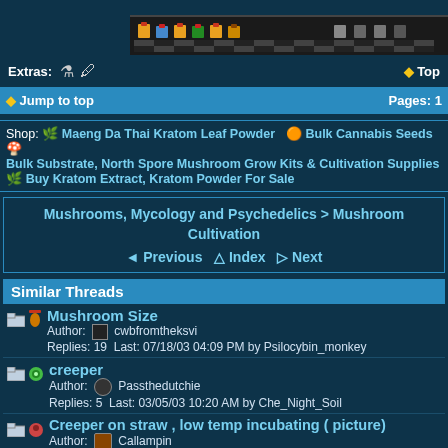[Figure (screenshot): Top area with sprite/game character images on a checkered/dark bar, with Extras label and Top link]
Extras:
◆ Top
◆ Jump to top   Pages: 1
Shop: 🌿 Maeng Da Thai Kratom Leaf Powder  🟠 Bulk Cannabis Seeds 🍄 Bulk Substrate, North Spore Mushroom Grow Kits & Cultivation Supplies  🌿 Buy Kratom Extract, Kratom Powder For Sale
Mushrooms, Mycology and Psychedelics > Mushroom Cultivation
◄ Previous  △ Index  ▷ Next
Similar Threads
Mushroom Size
Author: cwbfromtheksvi
Replies: 19  Last: 07/18/03 04:09 PM by Psilocybin_monkey
creeper
Author: Passthedutchie
Replies: 5  Last: 03/05/03 10:20 AM by Che_Night_Soil
Creeper on straw , low temp incubating ( picture)
Author: Callampin
Replies: 10  Last: 12/06/03 03:06 AM by Blue Helix
Creeper Potency